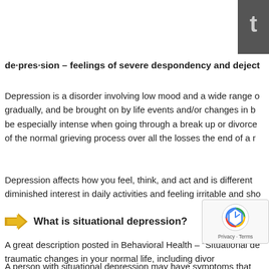[Figure (photo): Partial dark image in the top-right corner, appears to be a decorative photo with a letter or symbol partially visible]
de·pres·sion – feelings of severe despondency and dejection
Depression is a disorder involving low mood and a wide range of symptoms. It can come on gradually, and be brought on by life events and/or changes in brain chemistry. Depression may be especially intense when going through a break up or divorce, because it can be a normal part of the normal grieving process over all the losses the end of a marriage...
Depression affects how you feel, think, and act and is different from normal sadness. It includes diminished interest in daily activities and feeling irritable and sho...
What is situational depression?
A great description posted in Behavioral Health – "Situational depression is caused by traumatic changes in your normal life, including divorce... also known as condition as adjustment disorder.
[Figure (other): reCAPTCHA widget overlay with logo and Privacy - Terms text]
A person with situational depression may have symptoms that...